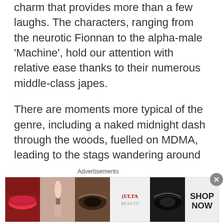charm that provides more than a few laughs. The characters, ranging from the neurotic Fionnan to the alpha-male 'Machine', hold our attention with relative ease thanks to their numerous middle-class japes.
There are moments more typical of the genre, including a naked midnight dash through the woods, fuelled on MDMA, leading to the stags wandering around with their modesty covered by the flora and fauna of the forest, or whatever rags they have to hand. Andrew Scott steals the show, even providing a lonely hearts rendition of Raglan
Advertisements
[Figure (photo): Advertisement banner for ULTA beauty showing close-up images of lips, makeup brush, eye with makeup, ULTA logo, eye with dramatic makeup, and SHOP NOW text on white background]